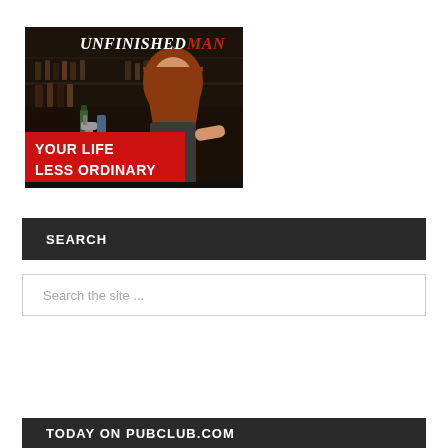[Figure (illustration): Advertisement image for 'Unfinished Man' website showing a bar scene with a smiling red-haired woman bartender and text overlays: 'UNFINISHED MAN' and 'YOUR LIFE LESS ORDINARY']
SEARCH
Search the site ...
TODAY ON PUBCLUB.COM